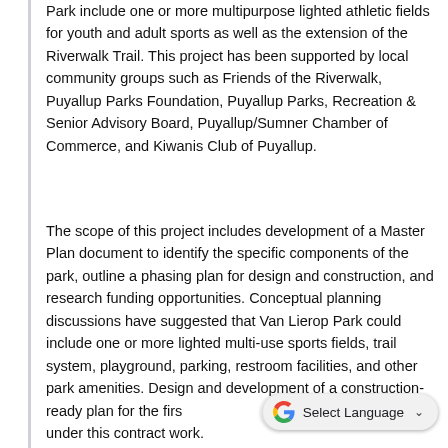Park include one or more multipurpose lighted athletic fields for youth and adult sports as well as the extension of the Riverwalk Trail. This project has been supported by local community groups such as Friends of the Riverwalk, Puyallup Parks Foundation, Puyallup Parks, Recreation & Senior Advisory Board, Puyallup/Sumner Chamber of Commerce, and Kiwanis Club of Puyallup.
The scope of this project includes development of a Master Plan document to identify the specific components of the park, outline a phasing plan for design and construction, and research funding opportunities. Conceptual planning discussions have suggested that Van Lierop Park could include one or more lighted multi-use sports fields, trail system, playground, parking, restroom facilities, and other park amenities. Design and development of a construction-ready plan for the first phase of the park will be completed under this contract work.